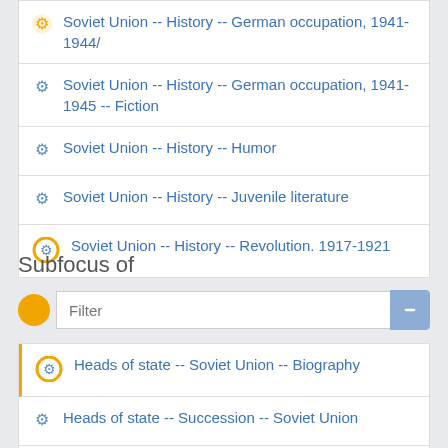Soviet Union -- History -- German occupation, 1941-1944/
Soviet Union -- History -- German occupation, 1941-1945 -- Fiction
Soviet Union -- History -- Humor
Soviet Union -- History -- Juvenile literature
Soviet Union -- History -- Revolution. 1917-1921
Subfocus of
Filter
Heads of state -- Soviet Union -- Biography
Heads of state -- Succession -- Soviet Union
Hockey -- Soviet Union -- History
Hockey -- Soviet Union -- History -- Juvenile literature
Hockey players -- Soviet Union